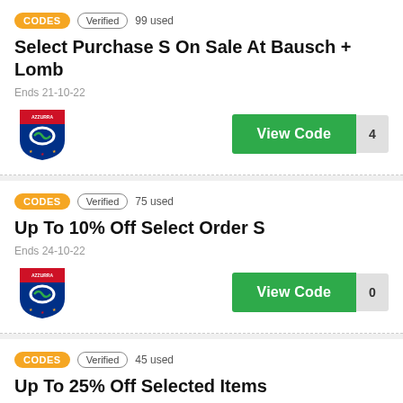CODES | Verified | 99 used | Select Purchase S On Sale At Bausch + Lomb | Ends 21-10-22 | View Code | 4
CODES | Verified | 75 used | Up To 10% Off Select Order S | Ends 24-10-22 | View Code | 0
CODES | Verified | 45 used | Up To 25% Off Selected Items